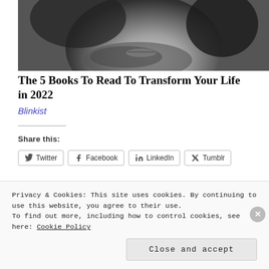[Figure (photo): Black and white close-up photo of a man's face (lower half) with beard and hair]
The 5 Books To Read To Transform Your Life in 2022
Blinkist
Share this:
Twitter  Facebook  LinkedIn  Tumblr
More
Privacy & Cookies: This site uses cookies. By continuing to use this website, you agree to their use.
To find out more, including how to control cookies, see here: Cookie Policy
Close and accept